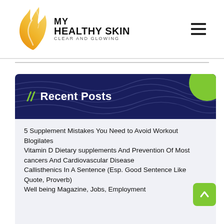[Figure (logo): My Healthy Skin - Clear and Glowing logo with orange/yellow flame and face silhouette]
// Recent Posts
5 Supplement Mistakes You Need to Avoid Workout Blogilates
Vitamin D Dietary supplements And Prevention Of Most cancers And Cardiovascular Disease
Callisthenics In A Sentence (Esp. Good Sentence Like Quote, Proverb)
Well being Magazine, Jobs, Employment